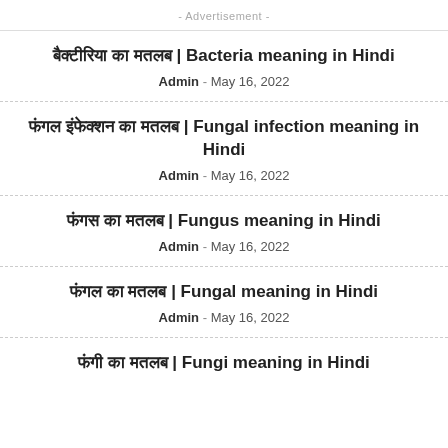- Advertisement -
बैक्टेरिया का मतलब | Bacteria meaning in Hindi
Admin  -  May 16, 2022
फंगल इंफेक्शन का मतलब | Fungal infection meaning in Hindi
Admin  -  May 16, 2022
फंगस का मतलब | Fungus meaning in Hindi
Admin  -  May 16, 2022
फंगल का मतलब | Fungal meaning in Hindi
Admin  -  May 16, 2022
फंगी का मतलब | Fungi meaning in Hindi